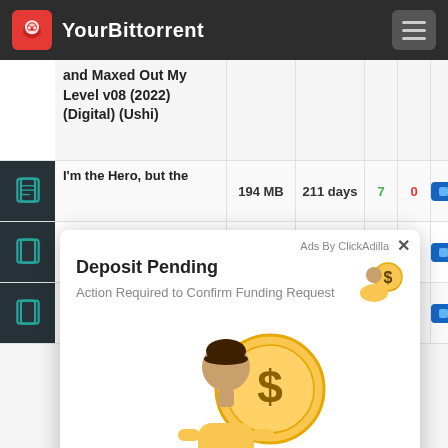YourBittorrent
|  | Title | Size | Age | S | L |  |
| --- | --- | --- | --- | --- | --- | --- |
| eBook | and Maxed Out My Level v08 (2022) (Digital) (Ushi) |  |  |  |  |  |
| eBook | I'm the Hero, but the | 194 MB | 211 days | 7 | 0 | download |
[Figure (screenshot): Ad overlay popup: 'Deposit Pending - Action Required to Confirm Funding Request' with a person and dollar coin illustration. Ad By ClickAdilla.]